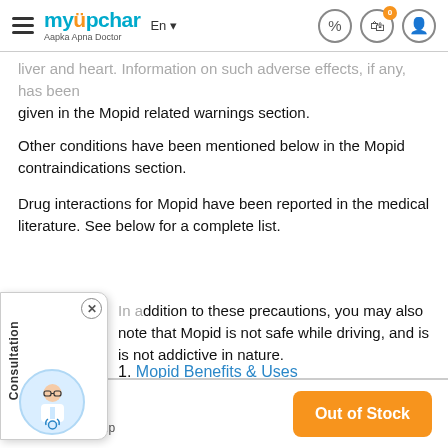myUpchar – Aapka Apna Doctor, En, icons
liver and heart. Information on such adverse effects, if any, has been given in the Mopid related warnings section.
Other conditions have been mentioned below in the Mopid contraindications section.
Drug interactions for Mopid have been reported in the medical literature. See below for a complete list.
In addition to these precautions, you may also note that Mopid is not safe while driving, and is is not addictive in nature.
1. Mopid Benefits & Uses
2. Mopid Dosage & How to Take
3. Mopid Side Effects
₹37.5 – 10 Tablet in 1 Strip | Out of Stock